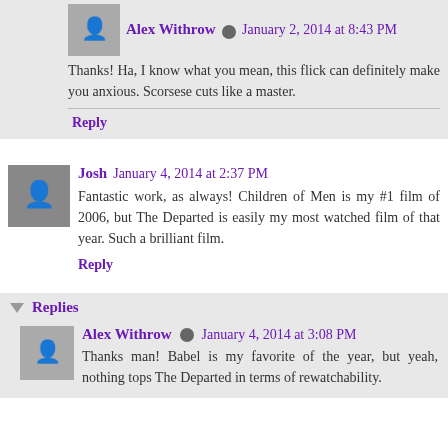Alex Withrow [edit icon] January 2, 2014 at 8:43 PM
Thanks! Ha, I know what you mean, this flick can definitely make you anxious. Scorsese cuts like a master.
Reply
Josh January 4, 2014 at 2:37 PM
Fantastic work, as always! Children of Men is my #1 film of 2006, but The Departed is easily my most watched film of that year. Such a brilliant film.
Reply
Replies
Alex Withrow [edit icon] January 4, 2014 at 3:08 PM
Thanks man! Babel is my favorite of the year, but yeah, nothing tops The Departed in terms of rewatchability.